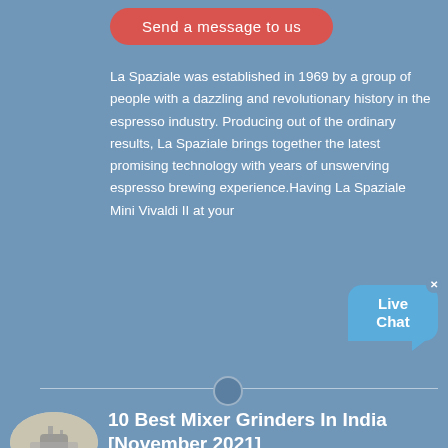Send a message to us
La Spaziale was established in 1969 by a group of people with a dazzling and revolutionary history in the espresso industry. Producing out of the ordinary results, La Spaziale brings together the latest promising technology with years of unswerving espresso brewing experience.Having La Spaziale Mini Vivaldi II at your
[Figure (illustration): Live Chat speech bubble widget with close X button]
[Figure (photo): Oval thumbnail image of mixer grinder machinery outdoors]
10 Best Mixer Grinders In India [November 2021]
Send a message to us
2021-9-4 · Mixer Grinder offers different speed levels for grinding. Firstly you should check the RPM speed. It tells you how speedy the blade rotates per minute. Buy the mixer